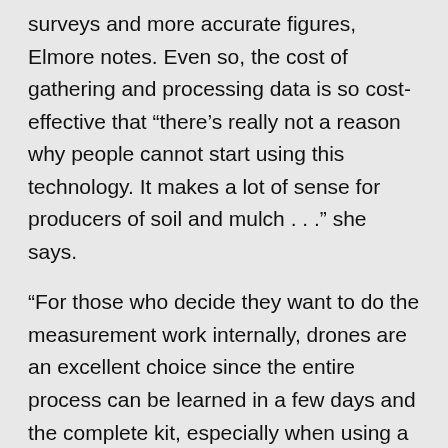surveys and more accurate figures, Elmore notes. Even so, the cost of gathering and processing data is so cost-effective that “there’s really not a reason why people cannot start using this technology. It makes a lot of sense for producers of soil and mulch . . .” she says.
“For those who decide they want to do the measurement work internally, drones are an excellent choice since the entire process can be learned in a few days and the complete kit, especially when using a low cost drone such as a DJI Inspire, is affordable,” Graham adds.